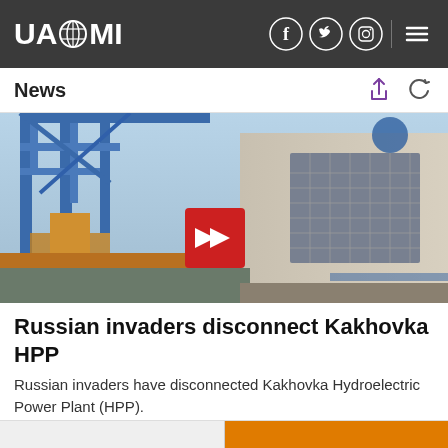UAZMI
News
[Figure (photo): Exterior of Kakhovka Hydroelectric Power Plant showing industrial crane structures in blue and a building facade with a large grid window; a red chevron road sign is visible in the foreground.]
Russian invaders disconnect Kakhovka HPP
Russian invaders have disconnected Kakhovka Hydroelectric Power Plant (HPP).
20:53 , 5 September 2022  👁 1  📈 50